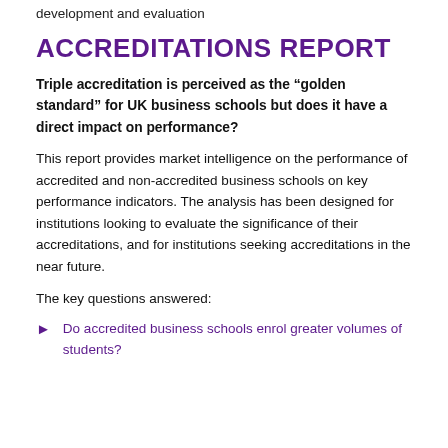development and evaluation
ACCREDITATIONS REPORT
Triple accreditation is perceived as the “golden standard” for UK business schools but does it have a direct impact on performance?
This report provides market intelligence on the performance of accredited and non-accredited business schools on key performance indicators. The analysis has been designed for institutions looking to evaluate the significance of their accreditations, and for institutions seeking accreditations in the near future.
The key questions answered:
Do accredited business schools enrol greater volumes of students?